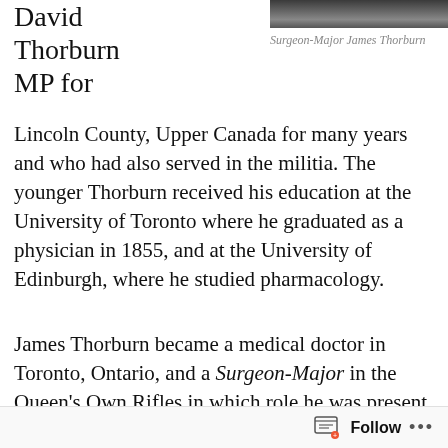[Figure (photo): Partial photograph of Surgeon-Major James Thorburn, dark/greyscale image cropped at top]
Surgeon-Major James Thorburn
David Thorburn MP for
Lincoln County, Upper Canada for many years and who had also served in the militia. The younger Thorburn received his education at the University of Toronto where he graduated as a physician in 1855, and at the University of Edinburgh, where he studied pharmacology.
James Thorburn became a medical doctor in Toronto, Ontario, and a Surgeon-Major in the Queen's Own Rifles in which role he was present at the Battle of Ridgeway in 1866 and the Belleville Riots in 1877. He was  also a professor of pharmacology and therapeutics at the University of Toronto, a
Follow ...